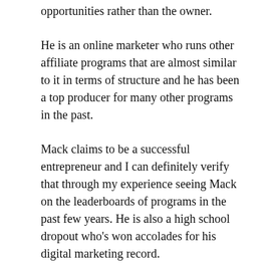opportunities rather than the owner.
He is an online marketer who runs other affiliate programs that are almost similar to it in terms of structure and he has been a top producer for many other programs in the past.
Mack claims to be a successful entrepreneur and I can definitely verify that through my experience seeing Mack on the leaderboards of programs in the past few years. He is also a high school dropout who's won accolades for his digital marketing record.